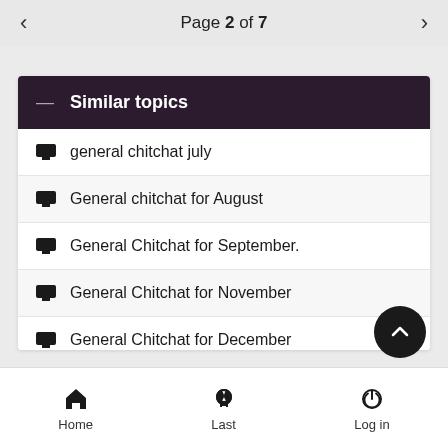Page 2 of 7
Similar topics
general chitchat july
General chitchat for August
General Chitchat for September.
General Chitchat for November
General Chitchat for December
Home   Last   Log in